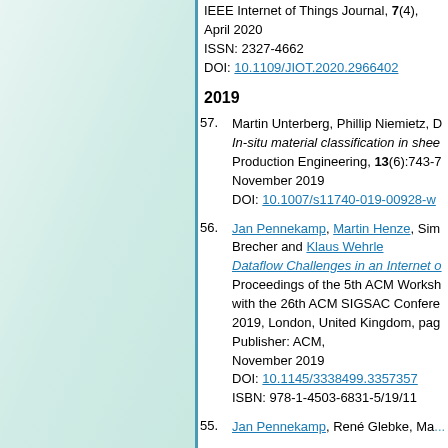IEEE Internet of Things Journal, 7(4), April 2020. ISSN: 2327-4662. DOI: 10.1109/JIOT.2020.2966402
2019
57. Martin Unterberg, Phillip Niemietz, D... In-situ material classification in shee... Production Engineering, 13(6):743-7... November 2019. DOI: 10.1007/s11740-019-00928-w
56. Jan Pennekamp, Martin Henze, Sim... Brecher and Klaus Wehrle. Dataflow Challenges in an Internet o... Proceedings of the 5th ACM Worksh... with the 26th ACM SIGSAC Confere... 2019, London, United Kingdom, pag... Publisher: ACM, November 2019. DOI: 10.1145/3338499.3357357. ISBN: 978-1-4503-6831-5/19/11
55. Jan Pennekamp, René Glebke, Ma...